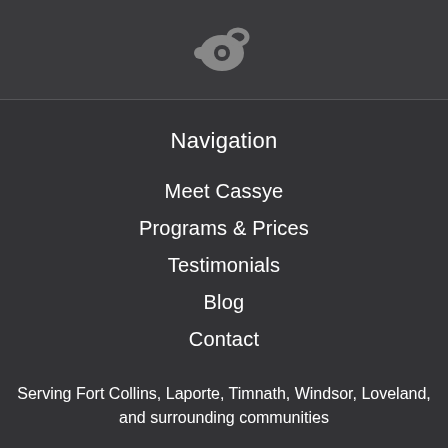[Figure (logo): Whistle icon in gray/white on dark background]
Navigation
Meet Cassye
Programs & Prices
Testimonials
Blog
Contact
Serving Fort Collins, Laporte, Timnath, Windsor, Loveland, and surrounding communities